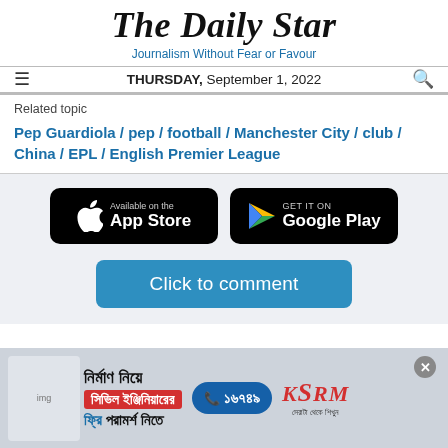The Daily Star
Journalism Without Fear or Favour
THURSDAY, September 1, 2022
Related topic
Pep Guardiola / pep / football / Manchester City / club / China / EPL / English Premier League
[Figure (logo): App Store download button (black rounded rectangle with Apple logo)]
[Figure (logo): Google Play download button (black rounded rectangle with Play Store triangle logo)]
Click to comment
[Figure (infographic): Advertisement banner in Bengali: civil engineering consultation, phone number 16749, KSRM brand logo]